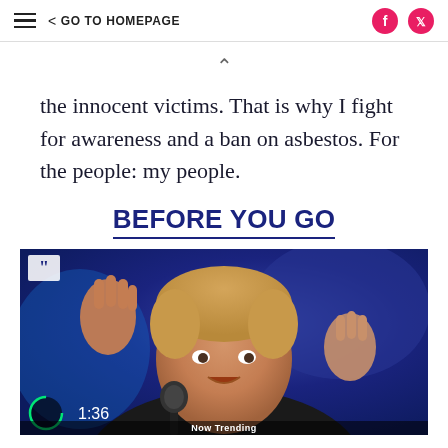≡ < GO TO HOMEPAGE [Facebook] [Twitter]
the innocent victims. That is why I fight for awareness and a ban on asbestos. For the people: my people.
BEFORE YOU GO
[Figure (photo): Video thumbnail showing a person gesturing with both hands raised near a microphone, with a blue background. A quote mark icon is in the top-left corner. A timer showing 1:36 is visible at the bottom left with a circular progress indicator. A caption bar runs along the bottom.]